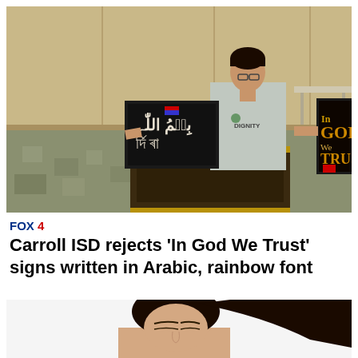[Figure (photo): A man standing at a podium in a meeting room, holding two framed signs. One sign shows text in Arabic script, the other reads 'In GOD We TRUST'. The man is wearing a gray t-shirt that reads 'DIGNITY'. The room has tan/beige wall panels and a patterned carpet floor.]
FOX 4
Carroll ISD rejects 'In God We Trust' signs written in Arabic, rainbow font
[Figure (photo): Partial image of a young woman with dark hair, head slightly bowed, visible from the neck up against a white background.]